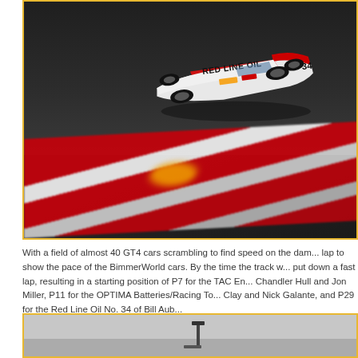[Figure (photo): Aerial/overhead action shot of a race car with 'RED LINE OIL' livery, number 34, on a racing circuit. The car is white and red, photographed from above on a dark asphalt track with red and white curbing visible in the lower portion of the frame. Motion blur visible on the curbing suggests speed.]
With a field of almost 40 GT4 cars scrambling to find speed on the damp track, there was little time to show a flying lap to show the pace of the BimmerWorld cars. By the time the track was beginning to dry, Hull was able to put down a fast lap, resulting in a starting position of P7 for the TAC En... Chandler Hull and Jon Miller, P11 for the OPTIMA Batteries/Racing To... Clay and Nick Galante, and P29 for the Red Line Oil No. 34 of Bill Aub...
[Figure (photo): Bottom portion of a second race-related photograph, showing a misty/overcast grey background with a vertical pole or post visible in the center of the frame.]